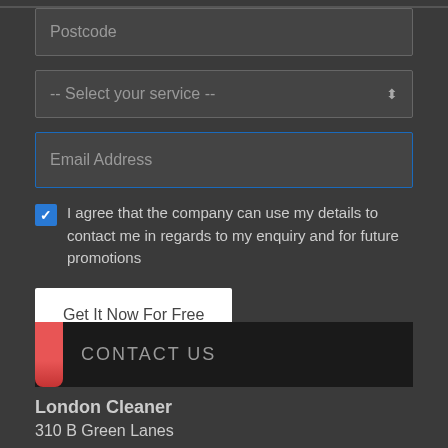Postcode
-- Select your service --
Email Address
I agree that the company can use my details to contact me in regards to my enquiry and for future promotions
Get It Now For Free
Contact Us
London Cleaner
310 B Green Lanes